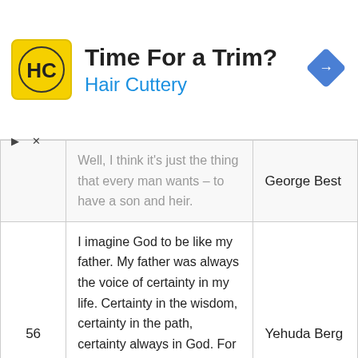[Figure (other): Advertisement banner for Hair Cuttery: logo with HC initials on yellow background, text 'Time For a Trim?' and 'Hair Cuttery' in blue, blue diamond navigation icon on right]
| # | Quote | Author |
| --- | --- | --- |
|  | Well, I think it's just the thing that every man wants – to have a son and heir. | George Best |
| 56 | I imagine God to be like my father. My father was always the voice of certainty in my life. Certainty in the wisdom, certainty in the path, certainty always in God. For me God is certainty in everything. Certainty that everything is good and everything is God. | Yehuda Berg |
|  | Father's Day is hopefully a time when the culture says, 'This is our | Michael |